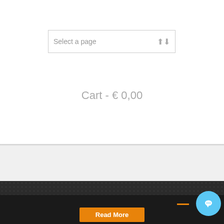[Figure (screenshot): Select a page dropdown box with up/down arrows]
Cart - € 0,00
© Copyright - Helliot Bikes | Kontakt | Hjälpa | Lagligt meddelande | Mitt konto | Sekretesspolicy | Villkor | Återbetalningar och avkastning
This web uses cookies to improve your user's experience.
Read More